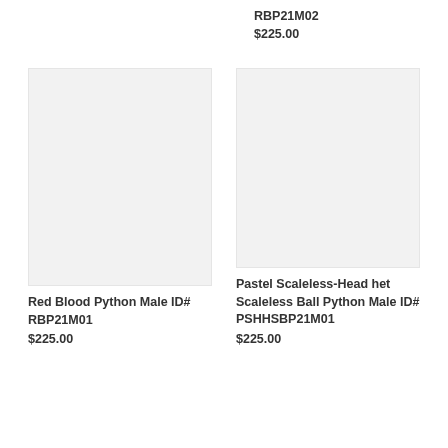RBP21M02
$225.00
[Figure (photo): Product image placeholder - left column, light gray background]
[Figure (photo): Product image placeholder - right column, light gray background]
Pastel Scaleless-Head het Scaleless Ball Python Male ID# PSHHSBP21M01
$225.00
Red Blood Python Male ID# RBP21M01
$225.00